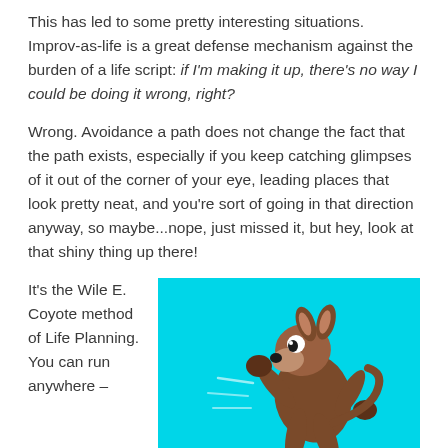This has led to some pretty interesting situations. Improv-as-life is a great defense mechanism against the burden of a life script: if I'm making it up, there's no way I could be doing it wrong, right?
Wrong. Avoidance a path does not change the fact that the path exists, especially if you keep catching glimpses of it out of the corner of your eye, leading places that look pretty neat, and you're sort of going in that direction anyway, so maybe...nope, just missed it, but hey, look at that shiny thing up there!
It's the Wile E. Coyote method of Life Planning. You can run anywhere –
[Figure (illustration): Cartoon illustration of Wile E. Coyote running, on a cyan/turquoise background. The coyote is shown mid-run with arms and legs in motion.]